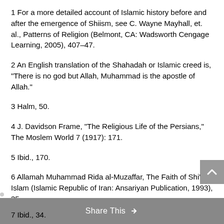1 For a more detailed account of Islamic history before and after the emergence of Shiism, see C. Wayne Mayhall, et. al., Patterns of Religion (Belmont, CA: Wadsworth Cengage Learning, 2005), 407–47.
2 An English translation of the Shahadah or Islamic creed is, “There is no god but Allah, Muhammad is the apostle of Allah.”
3 Halm, 50.
4 J. Davidson Frame, “The Religious Life of the Persians,” The Moslem World 7 (1917): 171.
5 Ibid., 170.
6 Allamah Muhammad Rida al-Muzaffar, The Faith of Shi’a Islam (Islamic Republic of Iran: Ansariyan Publication, 1993), 35.
7 Ibid., 34.
Share This